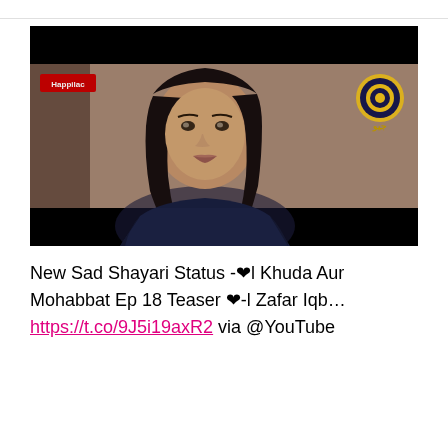[Figure (screenshot): A video thumbnail/screenshot from a Pakistani TV drama showing a young woman with long dark hair looking forward. The top and bottom of the frame are black letterbox bars. In the upper left corner is a 'Happilac' logo and in the upper right is the Geo TV logo.]
New Sad Shayari Status -❤l Khuda Aur Mohabbat Ep 18 Teaser ❤-l Zafar Iqb… https://t.co/9J5i19axR2 via @YouTube